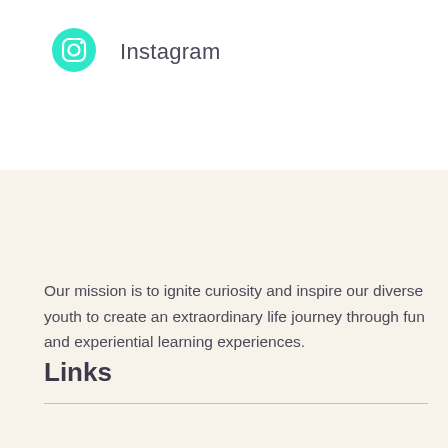[Figure (logo): Instagram teal/green circular icon with camera outline]
Instagram
Our mission is to ignite curiosity and inspire our diverse youth to create an extraordinary life journey through fun and experiential learning experiences.
Links